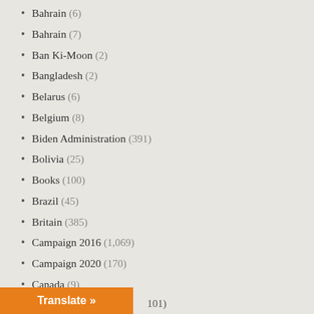Bahrain (6)
Bahrain (7)
Ban Ki-Moon (2)
Bangladesh (2)
Belarus (6)
Belgium (8)
Biden Administration (391)
Bolivia (25)
Books (100)
Brazil (45)
Britain (385)
Campaign 2016 (1,069)
Campaign 2020 (170)
Canada (9)
Censorship (170)
Central America (24)
Chile (12)
Translate »
101)